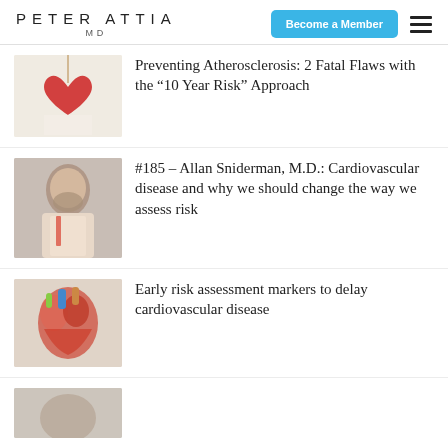PETER ATTIA MD
Preventing Atherosclerosis: 2 Fatal Flaws with the “10 Year Risk” Approach
#185 – Allan Sniderman, M.D.: Cardiovascular disease and why we should change the way we assess risk
Early risk assessment markers to delay cardiovascular disease